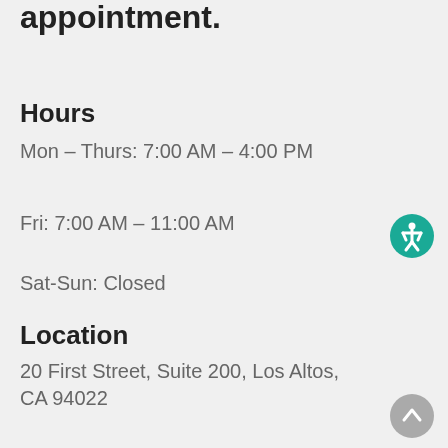appointment.
Hours
Mon – Thurs: 7:00 AM – 4:00 PM
Fri: 7:00 AM – 11:00 AM
Sat-Sun: Closed
Location
20 First Street, Suite 200, Los Altos, CA 94022